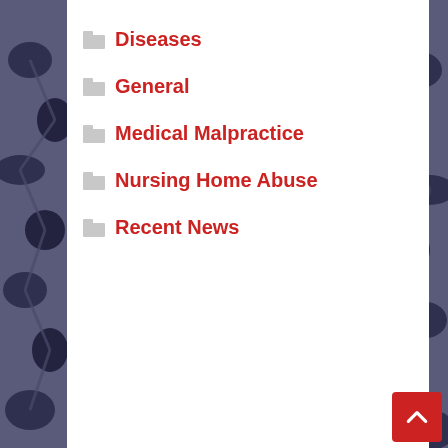Diseases
General
Medical Malpractice
Nursing Home Abuse
Recent News
Recent Posts
My Divorced Spouse Won A Personal Injury Settlement
Who Can File A Wrongful Death Lawsuit?
My Co-Worker Attacked Me! What Should I